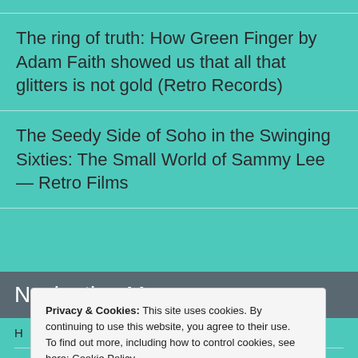The ring of truth: How Green Finger by Adam Faith showed us that all that glitters is not gold (Retro Records)
The Seedy Side of Soho in the Swinging Sixties: The Small World of Sammy Lee — Retro Films
Navigation Menu
Privacy & Cookies: This site uses cookies. By continuing to use this website, you agree to their use.
To find out more, including how to control cookies, see here: Cookie Policy
Close and accept